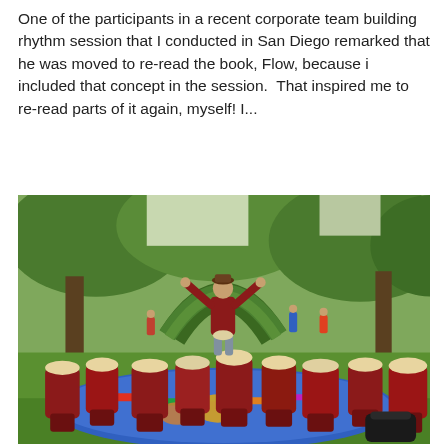One of the participants in a recent corporate team building rhythm session that I conducted in San Diego remarked that he was moved to re-read the book, Flow, because i included that concept in the session.  That inspired me to re-read parts of it again, myself! I...
[Figure (photo): A person standing with arms raised in a park surrounded by numerous djembe drums and percussion instruments laid out on a blue tarp on the grass, with trees and an archway in the background.]